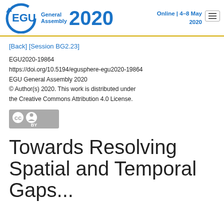EGU General Assembly 2020 Online | 4–8 May 2020
[Back] [Session BG2.23]
EGU2020-19864
https://doi.org/10.5194/egusphere-egu2020-19864
EGU General Assembly 2020
© Author(s) 2020. This work is distributed under the Creative Commons Attribution 4.0 License.
[Figure (logo): Creative Commons BY license badge]
Towards Resolving Spatial and Temporal Gaps...